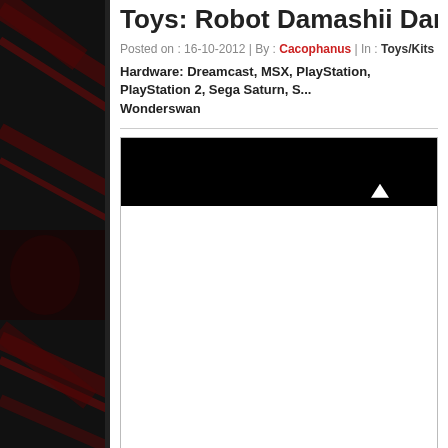Toys: Robot Damashii Danbine ...
Posted on : 16-10-2012 | By : Cacophanus | In : Toys/Kits
Hardware: Dreamcast, MSX, PlayStation, PlayStation 2, Sega Saturn, S... Wonderswan
[Figure (photo): A partially cropped product image with a black banner at the top and white content area below, showing a toy/robot figure packaging or display.]